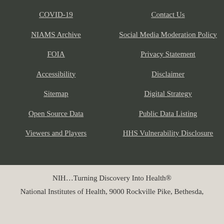COVID-19
Contact Us
NIAMS Archive
Social Media Moderation Policy
FOIA
Privacy Statement
Accessibility
Disclaimer
Sitemap
Digital Strategy
Open Source Data
Public Data Listing
Viewers and Players
HHS Vulnerability Disclosure
NIH...Turning Discovery Into Health®
National Institutes of Health, 9000 Rockville Pike, Bethesda,